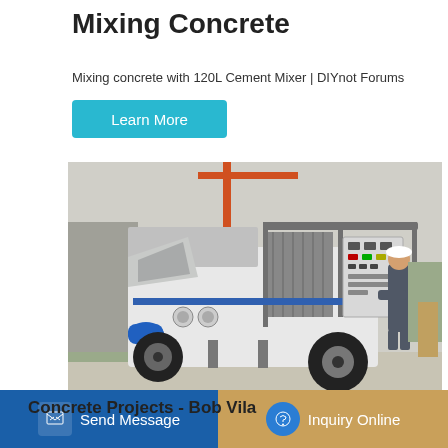Mixing Concrete
Mixing concrete with 120L Cement Mixer | DIYnot Forums
Learn More
[Figure (photo): A trailer-mounted concrete pump machine with a large hopper on the left side and a control panel on the right, with a worker in grey coveralls and white hard hat inspecting the equipment. Construction site background with a crane visible.]
Send Message
Inquiry Online
Concrete Projects - Bob Vila